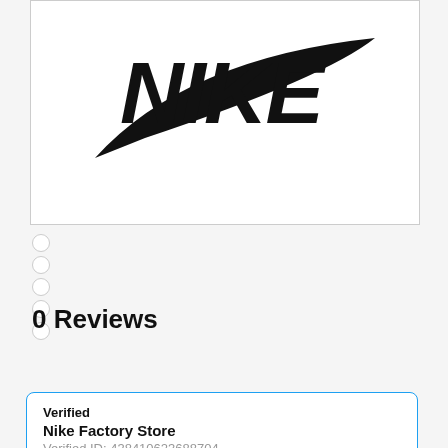[Figure (logo): Nike logo with swoosh and italic NIKE text in black on white background]
0 Reviews
Leave a review
Verified
Nike Factory Store
Verified ID: 438410623688704

Verified 18/07/2022 @ 10:00:57